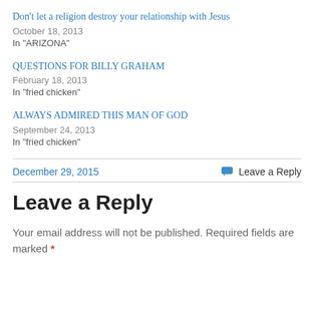Don't let a religion destroy your relationship with Jesus
October 18, 2013
In "ARIZONA"
QUESTIONS FOR BILLY GRAHAM
February 18, 2013
In "fried chicken"
ALWAYS ADMIRED THIS MAN OF GOD
September 24, 2013
In "fried chicken"
December 29, 2015   💬 Leave a Reply
Leave a Reply
Your email address will not be published. Required fields are marked *